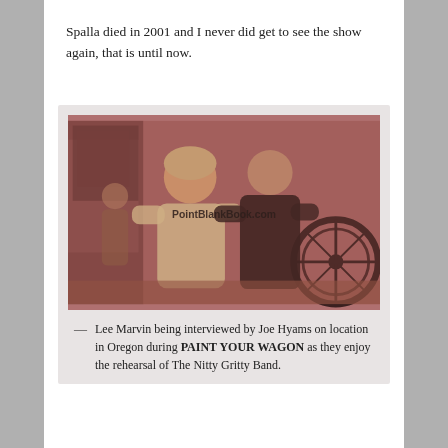Spalla died in 2001 and I never did get to see the show again, that is until now.
[Figure (photo): Sepia/reddish-toned photograph of Lee Marvin being interviewed by Joe Hyams on location in Oregon during Paint Your Wagon. Two men appear to be interacting outdoors near rustic wooden structures and wagon wheels. A watermark reads PointBlankBook.com.]
Lee Marvin being interviewed by Joe Hyams on location in Oregon during PAINT YOUR WAGON as they enjoy the rehearsal of The Nitty Gritty Band.